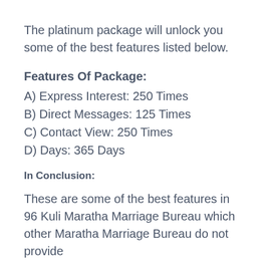The platinum package will unlock you some of the best features listed below.
Features Of Package:
A) Express Interest: 250 Times
B) Direct Messages: 125 Times
C) Contact View: 250 Times
D) Days: 365 Days
In Conclusion:
These are some of the best features in 96 Kuli Maratha Marriage Bureau which other Maratha Marriage Bureau do not provide